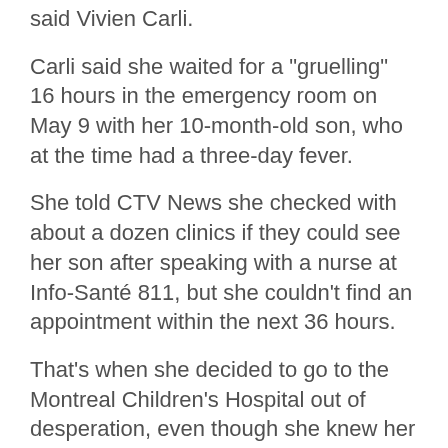said Vivien Carli.
Carli said she waited for a "gruelling" 16 hours in the emergency room on May 9 with her 10-month-old son, who at the time had a three-day fever.
She told CTV News she checked with about a dozen clinics if they could see her son after speaking with a nurse at Info-Santé 811, but she couldn't find an appointment within the next 36 hours.
That's when she decided to go to the Montreal Children's Hospital out of desperation, even though she knew her son's condition wasn't an emergency.